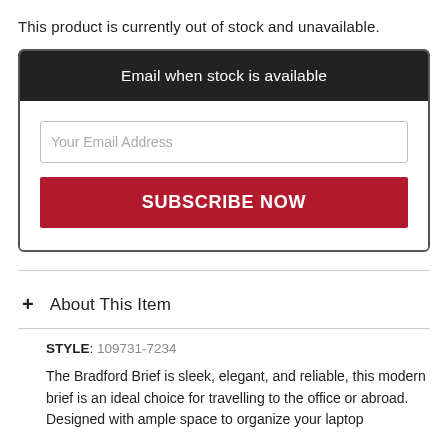This product is currently out of stock and unavailable.
Email when stock is available
Your Email Address
SUBSCRIBE NOW
+ About This Item
STYLE: 109731-7234
The Bradford Brief is sleek, elegant, and reliable, this modern brief is an ideal choice for travelling to the office or abroad. Designed with ample space to organize your laptop...